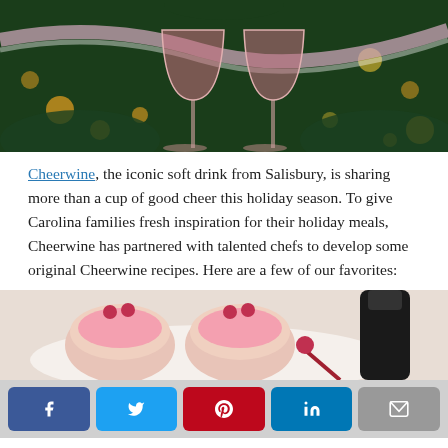[Figure (photo): Two pink/red champagne coupes clinking in front of a decorated Christmas tree with bokeh lights and festive ribbon garland in background]
Cheerwine, the iconic soft drink from Salisbury, is sharing more than a cup of good cheer this holiday season. To give Carolina families fresh inspiration for their holiday meals, Cheerwine has partnered with talented chefs to develop some original Cheerwine recipes. Here are a few of our favorites:
[Figure (photo): Pink-frosted scones or biscuits topped with cherries on a white plate, with a dark bottle of Cheerwine in the background]
f  [Twitter bird]  [Pinterest P]  in  [envelope]